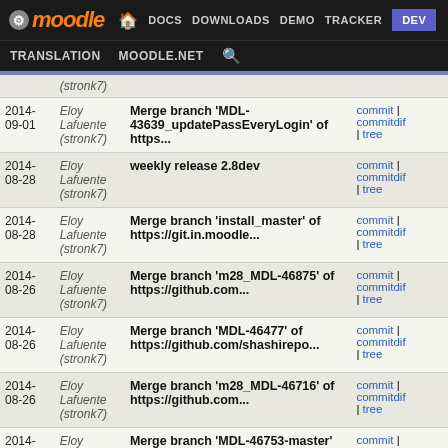moodle — DOCS DOWNLOADS DEMO TRACKER DEV | TRANSLATION MOODLE.NET
| Date | Author | Commit Message | Links |
| --- | --- | --- | --- |
|  | (stronk7) |  |  |
| 2014-09-01 | Eloy Lafuente (stronk7) | Merge branch 'MDL-43639_updatePassEveryLogin' of https... | commit | commitdif | tree |
| 2014-08-28 | Eloy Lafuente (stronk7) | weekly release 2.8dev | commit | commitdif | tree |
| 2014-08-28 | Eloy Lafuente (stronk7) | Merge branch 'install_master' of https://git.in.moodle... | commit | commitdif | tree |
| 2014-08-26 | Eloy Lafuente (stronk7) | Merge branch 'm28_MDL-46875' of https://github.com... | commit | commitdif | tree |
| 2014-08-26 | Eloy Lafuente (stronk7) | Merge branch 'MDL-46477' of https://github.com/shashirepo... | commit | commitdif | tree |
| 2014-08-26 | Eloy Lafuente (stronk7) | Merge branch 'm28_MDL-46716' of https://github.com... | commit | commitdif | tree |
| 2014-08-26 | Eloy Lafuente (stronk7) | Merge branch 'MDL-46753-master' of git://github.com... | commit | commitdif | tree |
| 2014-08-25 | Eloy Lafuente (stronk7) | Merge branch 'master_MDL-46842' of https://github.com... | commit | commitdif | tree |